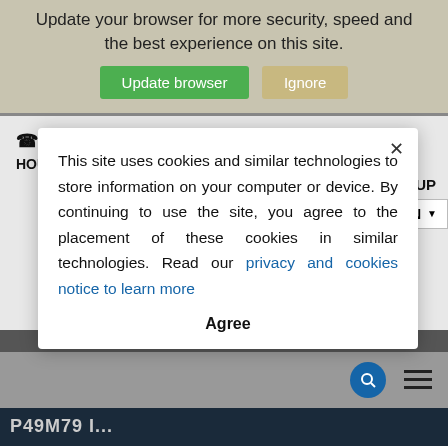Update your browser for more security, speed and the best experience on this site.
Update browser | Ignore
PHONE: 1-800-451-6628 | 1-727-451-1198
HOURS: 8:30 AM TO 5:00 PM EST
[Figure (other): Social media icons row: Instagram, YouTube, Facebook, Twitter, LinkedIn — all in blue circles]
S SIGNUP
EN
This site uses cookies and similar technologies to store information on your computer or device. By continuing to use the site, you agree to the placement of these cookies in similar technologies. Read our privacy and cookies notice to learn more
Agree